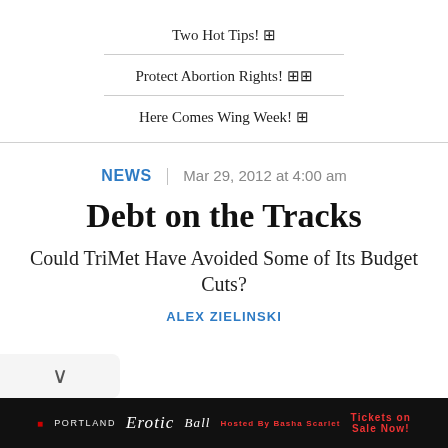Two Hot Tips! ⊞
Protect Abortion Rights! ⊞⊞
Here Comes Wing Week! ⊞
NEWS | Mar 29, 2012 at 4:00 am
Debt on the Tracks
Could TriMet Have Avoided Some of Its Budget Cuts?
ALEX ZIELINSKI
[Figure (photo): Advertisement banner for Portland Erotic Ball with performers in costume, red and black theme, text reads 'PORTLAND Erotic Ball Hosted By Basha Scarlet Tickets on Sale Now']